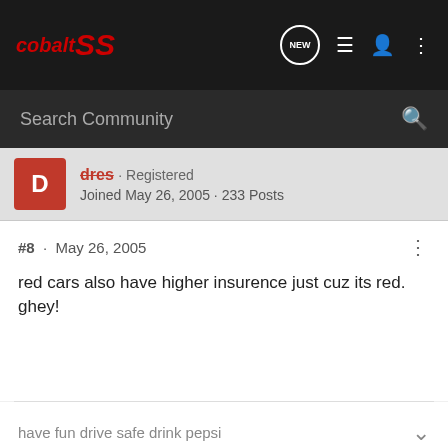COBALT SS
Search Community
dres · Registered
Joined May 26, 2005 · 233 Posts
#8 · May 26, 2005
red cars also have higher insurence just cuz its red. ghey!
have fun drive safe drink pepsi